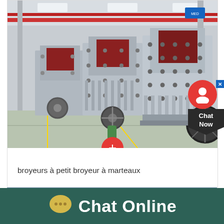[Figure (photo): Industrial hammer mill crushers lined up in a factory workshop. Multiple large grey metal crushing machines with red accents visible, sitting on a concrete factory floor with overhead steel structure and cranes visible.]
broyeurs à petit broyeur à marteaux
[Figure (screenshot): Partial view of another machinery image — blue and grey industrial equipment]
[Figure (infographic): Chat Online bar at the bottom showing a yellow speech bubble icon and white text 'Chat Online' on a dark teal/green background]